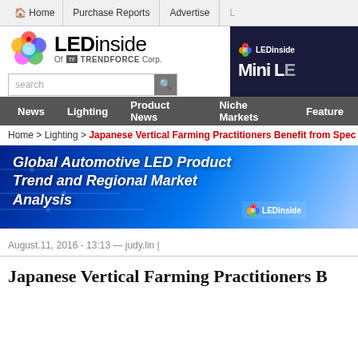Home | Purchase Reports | Advertise
[Figure (logo): LEDinside of TrendForce Corp. logo with colorful circle badge]
[Figure (screenshot): LEDinside Mini LED advertisement banner on dark background]
search
News | Lighting | Product News | Niche Markets | Features
Home > Lighting > Japanese Vertical Farming Practitioners Benefit from Spec...
[Figure (infographic): Global Automotive LED Product Trend and Regional Market Analysis banner advertisement with LEDinside branding on blue background]
August.11, 2016 - 13:13 — judy.lin |
Japanese Vertical Farming Practitioners B...